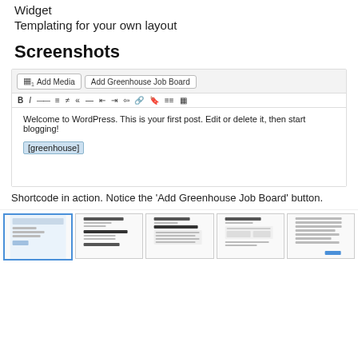Widget
Templating for your own layout
Screenshots
[Figure (screenshot): WordPress post editor showing shortcode in action with 'Add Greenhouse Job Board' button. Editor contains 'Welcome to WordPress. This is your first post. Edit or delete it, then start blogging!' and a highlighted [greenhouse] shortcode.]
Shortcode in action. Notice the 'Add Greenhouse Job Board' button.
[Figure (screenshot): Row of 5 thumbnail screenshots showing various Greenhouse job board plugin views and layouts.]